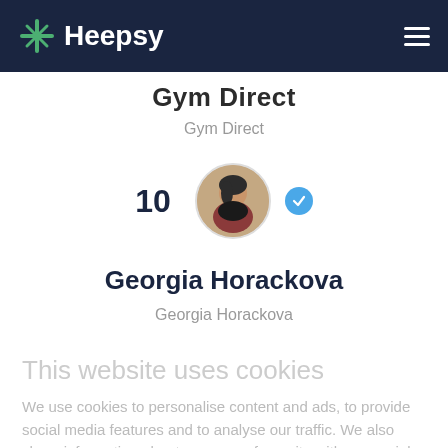Heepsy
Gym Direct
Gym Direct
[Figure (photo): Circular profile photo of a woman in athletic wear posing outdoors, with a blue verified checkmark badge, and rank number 10 to the left]
Georgia Horackova
Georgia Horackova
This website uses cookies
We use cookies to personalise content and ads, to provide social media features and to analyse our traffic. We also share information about your use of our site with our social media, advertising and analytics partners who may